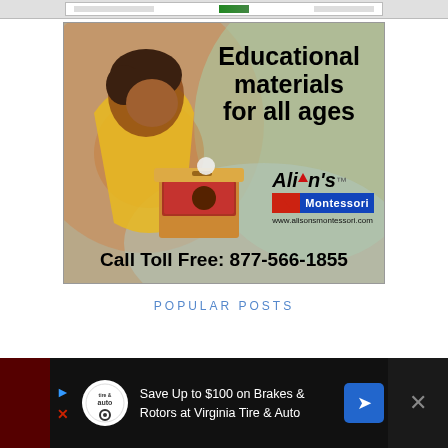[Figure (illustration): Top banner strip placeholder with light gray background]
[Figure (photo): Advertisement for Alison's Montessori showing a child in a yellow shirt playing with a wooden Montessori toy. Text reads 'Educational materials for all ages', logo with 'Alison's Montessori' and 'www.alisonsmontessori.com', and 'Call Toll Free: 877-566-1855']
POPULAR POSTS
[Figure (screenshot): Bottom advertisement bar: 'Save Up to $100 on Brakes & Rotors at Virginia Tire & Auto' with Tire & Auto logo and navigation arrow icon, dark background]